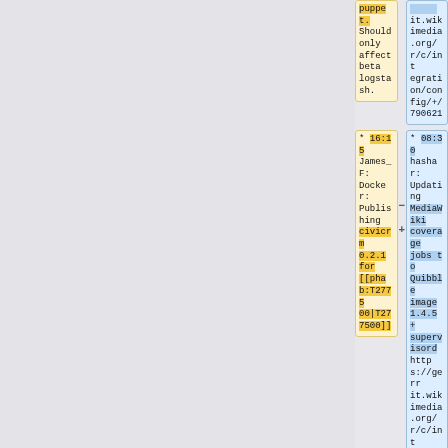puppet. Should only affect beta logstash.
https://gerrit.wikimedia.org/r/c/integration/config/+/790621
* 16:15 James_F: Docker: Publishing civicrm 0.2.1 for [[phab:T277500|T277500]]
* 08:30 hashar: Updating MediaWiki coverage jobs to Quibble image 1.4.5 + supervisord https://gerrit.wikimedia.org/r/c/integration/config/+/790381
* 16:00
* 08:24